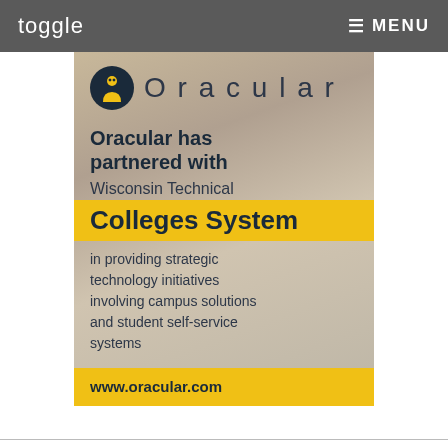toggle   ≡ MENU
[Figure (infographic): Oracular advertisement banner showing partnership with Wisconsin Technical Colleges System. Features Oracular logo (dark circle with yellow figure icon), classroom background photo, bold text describing partnership, yellow highlight bar for 'Colleges System', descriptive text about strategic technology initiatives, and yellow footer with www.oracular.com]
Oracular has partnered with Wisconsin Technical Colleges System in providing strategic technology initiatives involving campus solutions and student self-service systems
www.oracular.com